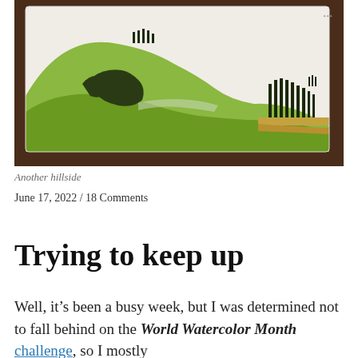[Figure (photo): A watercolor painting of a hillside landscape with green rolling hills, trees along the ridgeline, and cypress trees in the right foreground, displayed on a white card resting on a dark wooden surface.]
Another hillside
June 17, 2022  /  18 Comments
Trying to keep up
Well, it’s been a busy week, but I was determined not to fall behind on the World Watercolor Month challenge, so I mostly